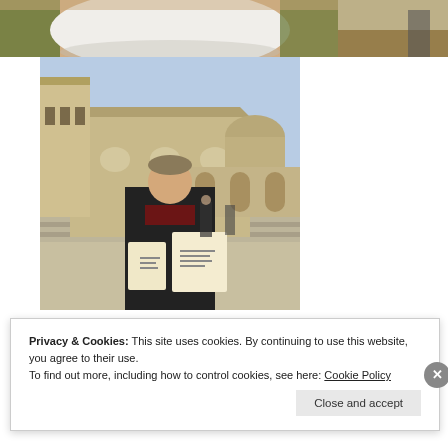[Figure (photo): Partial top photo: a table with white tablecloth and green/olive curtains, cropped at top of page]
[Figure (photo): Woman standing in front of a large stone Romanesque church/basilica (likely Basilica di San Francesco, Assisi), holding documents/certificates, on a sunny day]
[Figure (photo): Partial photo on top-right: outdoor scene with dry leaves/grass, person partially visible]
Privacy & Cookies: This site uses cookies. By continuing to use this website, you agree to their use.
To find out more, including how to control cookies, see here: Cookie Policy
Close and accept